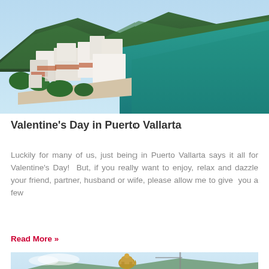[Figure (photo): Aerial view of Puerto Vallarta coastline showing white buildings, red-tiled roofs, green mountains, sandy beach, and teal ocean water]
Valentine's Day in Puerto Vallarta
Luckily for many of us, just being in Puerto Vallarta says it all for Valentine's Day!  But, if you really want to enjoy, relax and dazzle your friend, partner, husband or wife, please allow me to give  you a few
Read More »
[Figure (photo): Partial bottom photo showing a decorative crown or church dome structure with blue sky and mountains in background]